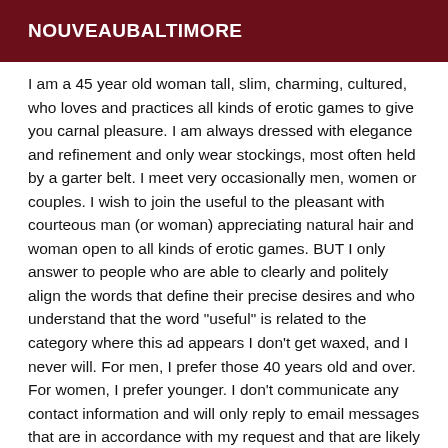NOUVEAUBALTIMORE
I am a 45 year old woman tall, slim, charming, cultured, who loves and practices all kinds of erotic games to give you carnal pleasure. I am always dressed with elegance and refinement and only wear stockings, most often held by a garter belt. I meet very occasionally men, women or couples. I wish to join the useful to the pleasant with courteous man (or woman) appreciating natural hair and woman open to all kinds of erotic games. BUT I only answer to people who are able to clearly and politely align the words that define their precise desires and who understand that the word "useful" is related to the category where this ad appears I don't get waxed, and I never will. For men, I prefer those 40 years old and over. For women, I prefer younger. I don't communicate any contact information and will only reply to email messages that are in accordance with my request and that are likely to interest me, by their content and specific proposals. I apologize to those to whom I will not